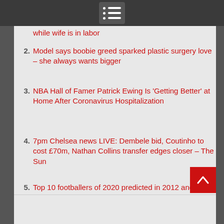Navigation menu icon
while wife is in labor
2. Model says boobie greed sparked plastic surgery love – she always wants bigger
3. NBA Hall of Famer Patrick Ewing Is 'Getting Better' at Home After Coronavirus Hospitalization
4. 7pm Chelsea news LIVE: Dembele bid, Coutinho to cost £70m, Nathan Collins transfer edges closer – The Sun
5. Top 10 footballers of 2020 predicted in 2012 and where they are now.. from Neymar to Wilshere and Sakho – The Sun
6. The train firms and airlines offering free or discounted travel to Flybe passengers and staff